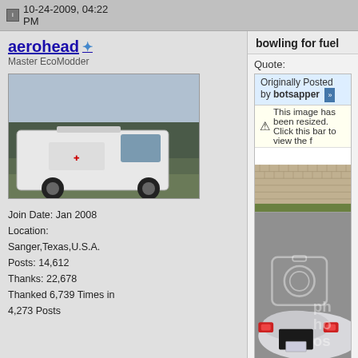10-24-2009, 04:22 PM
aerohead
Master EcoModder
[Figure (photo): Avatar photo of a white van/vehicle on grass]
Join Date: Jan 2008
Location: Sanger,Texas,U.S.A.
Posts: 14,612
Thanks: 22,678
Thanked 6,739 Times in 4,273 Posts
bowling for fuel
Quote:
Originally Posted by botsapper
This image has been resized. Click this bar to view the f
[Figure (photo): Rear view of a futuristic low aerodynamic white vehicle on a road with a brick wall background. Photobucket watermark visible.]